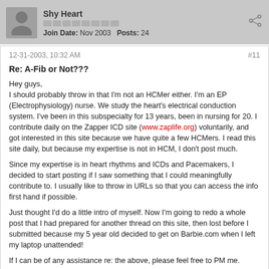Shy Heart
Join Date: Nov 2003   Posts: 24
12-31-2003, 10:32 AM
#11
Re: A-Fib or Not???
Hey guys,
I should probably throw in that I'm not an HCMer either. I'm an EP (Electrophysiology) nurse. We study the heart's electrical conduction system. I've been in this subspecialty for 13 years, been in nursing for 20. I contribute daily on the Zapper ICD site (www.zaplife.org) voluntarily, and got interested in this site because we have quite a few HCMers. I read this site daily, but because my expertise is not in HCM, I don't post much.
Since my expertise is in heart rhythms and ICDs and Pacemakers, I decided to start posting if I saw something that I could meaningfully contribute to. I usually like to throw in URLs so that you can access the info first hand if possible.
Just thought I'd do a little intro of myself. Now I'm going to redo a whole post that I had prepared for another thread on this site, then lost before I submitted because my 5 year old decided to get on Barbie.com when I left my laptop unattended!
If I can be of any assistance re: the above, please feel free to PM me.
Warm regards,
Laurie